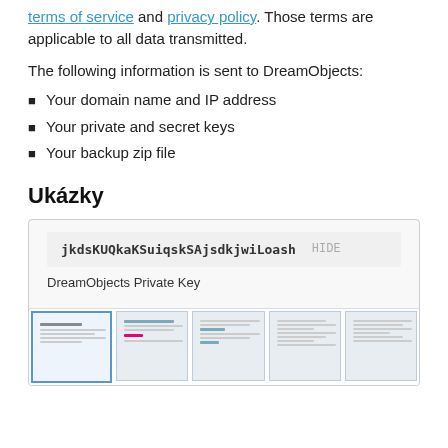terms of service and privacy policy. Those terms are applicable to all data transmitted.
The following information is sent to DreamObjects:
Your domain name and IP address
Your private and secret keys
Your backup zip file
Ukázky
[Figure (screenshot): Screenshot of DreamObjects Private Key interface showing a key string 'jkdsKUQkaKSuiqskSAjsdkjwiLoash' with a HIDE button, labeled 'DreamObjects Private Key', with five thumbnail previews of different screens below.]